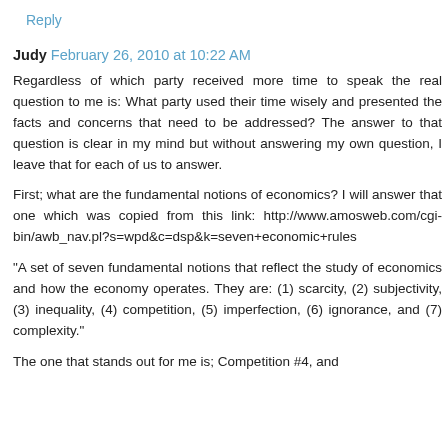Reply
Judy  February 26, 2010 at 10:22 AM
Regardless of which party received more time to speak the real question to me is: What party used their time wisely and presented the facts and concerns that need to be addressed? The answer to that question is clear in my mind but without answering my own question, I leave that for each of us to answer.
First; what are the fundamental notions of economics? I will answer that one which was copied from this link: http://www.amosweb.com/cgi-bin/awb_nav.pl?s=wpd&c=dsp&k=seven+economic+rules
"A set of seven fundamental notions that reflect the study of economics and how the economy operates. They are: (1) scarcity, (2) subjectivity, (3) inequality, (4) competition, (5) imperfection, (6) ignorance, and (7) complexity."
The one that stands out for me is; Competition #4, and